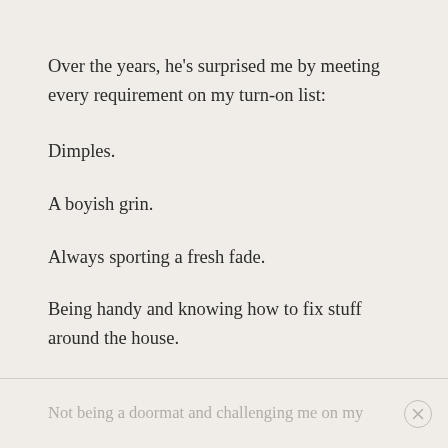Over the years, he's surprised me by meeting every requirement on my turn-on list:
Dimples.
A boyish grin.
Always sporting a fresh fade.
Being handy and knowing how to fix stuff around the house.
Not being a doormat and challenging me on my